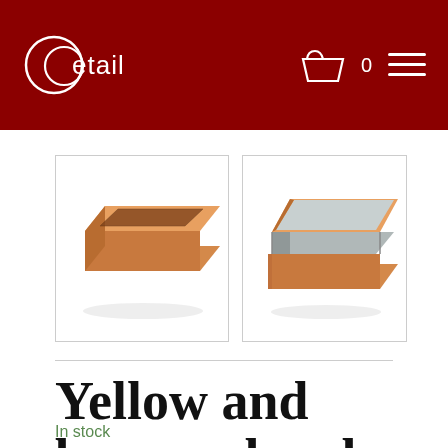Detail
[Figure (photo): Yellow and brown wooden glass-topped box, closed, viewed from front-left angle]
[Figure (photo): Yellow and brown wooden box, open showing silver/grey interior lining, viewed from front-left angle]
Yellow and brown glass box
In stock